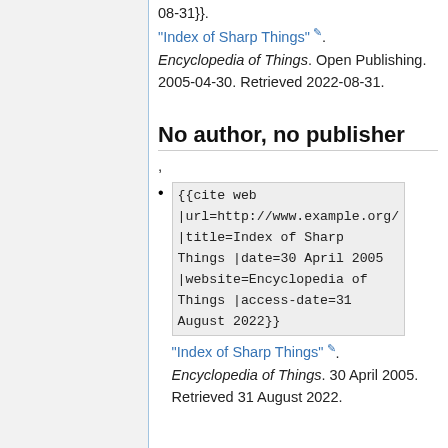08-31}}. "Index of Sharp Things". Encyclopedia of Things. Open Publishing. 2005-04-30. Retrieved 2022-08-31.
No author, no publisher
,
{{cite web |url=http://www.example.org/ |title=Index of Sharp Things |date=30 April 2005 |website=Encyclopedia of Things |access-date=31 August 2022}} "Index of Sharp Things". Encyclopedia of Things. 30 April 2005. Retrieved 31 August 2022.